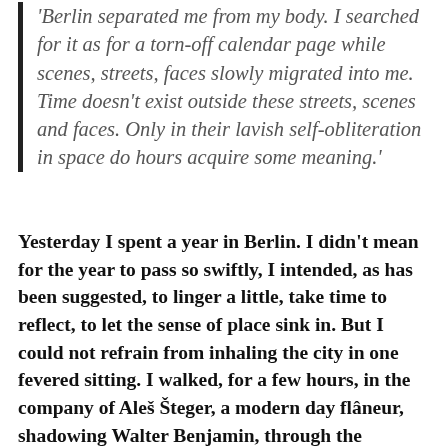'Berlin separated me from my body. I searched for it as for a torn-off calendar page while scenes, streets, faces slowly migrated into me. Time doesn't exist outside these streets, scenes and faces. Only in their lavish self-obliteration in space do hours acquire some meaning.'
Yesterday I spent a year in Berlin. I didn't mean for the year to pass so swiftly, I intended, as has been suggested, to linger a little, take time to reflect, to let the sense of place sink in. But I could not refrain from inhaling the city in one fevered sitting. I walked, for a few hours, in the company of Aleš Šteger, a modern day flâneur, shadowing Walter Benjamin, through the German capital, experiencing it with an outsider's eye and a poet's